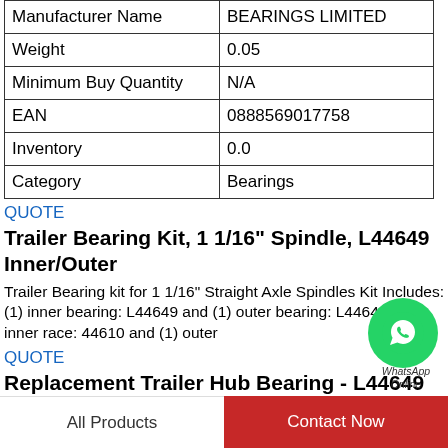| Manufacturer Name | BEARINGS LIMITED |
| Weight | 0.05 |
| Minimum Buy Quantity | N/A |
| EAN | 0888569017758 |
| Inventory | 0.0 |
| Category | Bearings |
QUOTE
Trailer Bearing Kit, 1 1/16" Spindle, L44649 Inner/Outer
Trailer Bearing kit for 1 1/16" Straight Axle Spindles Kit Includes: (1) inner bearing: L44649 and (1) outer bearing: L44649 (1) inner race: 44610 and (1) outer
QUOTE
Replacement Trailer Hub Bearing - L44649 etrailer Trailer
etrailer Trailer Bearings Races Seals Caps - L44649. High-quality, tapered roller bearing is designed for high-
[Figure (illustration): WhatsApp contact button - green circle with phone icon, labeled WhatsApp Online]
All Products  |  Contact Now